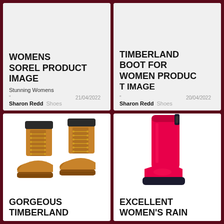WOMENS SOREL PRODUCT IMAGE
Stunning Womens
21/04/2022 Sharon Redd Shoes
TIMBERLAND BOOT FOR WOMEN PRODUCT IMAGE
20/04/2022 Sharon Redd Shoes
[Figure (photo): Two tan/wheat colored Timberland boots with black collar trim and gold laces]
GORGEOUS TIMBERLAND
[Figure (photo): Tall hot pink/magenta women's rain boot]
EXCELLENT WOMEN'S RAIN